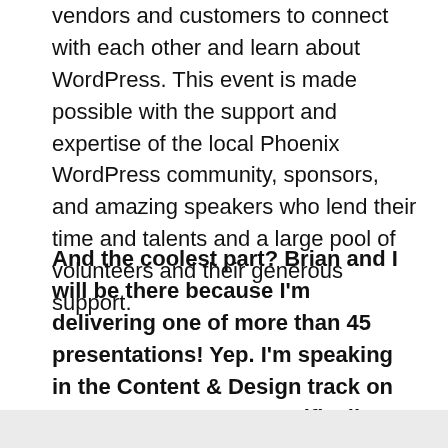vendors and customers to connect with each other and learn about WordPress. This event is made possible with the support and expertise of the local Phoenix WordPress community, sponsors, and amazing speakers who lend their time and talents and a large pool of volunteers and their generous support.
And the coolest part? Brian and I will be there because I'm delivering one of more than 45 presentations! Yep. I'm speaking in the Content & Design track on content — or more specifically:
READ MORE